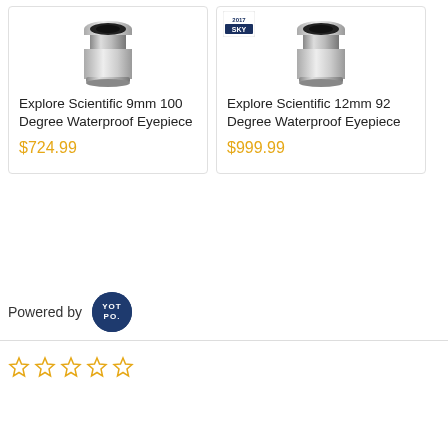[Figure (photo): Explore Scientific 9mm 100 Degree Waterproof Eyepiece product image - metallic cylindrical eyepiece]
Explore Scientific 9mm 100 Degree Waterproof Eyepiece
$724.99
[Figure (photo): Explore Scientific 12mm 92 Degree Waterproof Eyepiece product image with Sky badge - metallic cylindrical eyepiece]
Explore Scientific 12mm 92 Degree Waterproof Eyepiece
$999.99
[Figure (logo): Powered by Yotpo logo - dark blue circular badge with YOT PO. text in white]
[Figure (other): Five empty star rating icons in gold/orange outline]